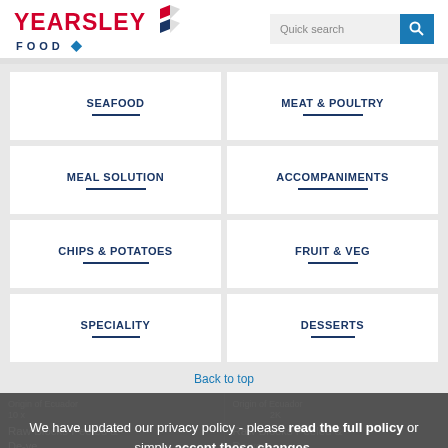YEARSLEY FOOD | Quick search
SEAFOOD
MEAT & POULTRY
MEAL SOLUTION
ACCOMPANIMENTS
CHIPS & POTATOES
FRUIT & VEG
SPECIALITY
DESSERTS
Back to top
Origin of Ecuador
10 x ... 
Raw Blocks Peeled &
Origin of Ecuador
... 2K...
Raw Blocks Peeled &
We have updated our privacy policy - please read the full policy or simply accept these changes.